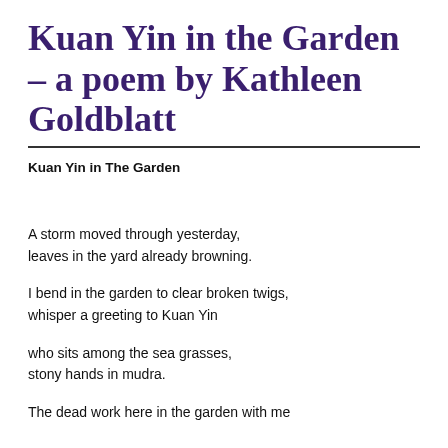Kuan Yin in the Garden – a poem by Kathleen Goldblatt
Kuan Yin in The Garden
A storm moved through yesterday,
leaves in the yard already browning.

I bend in the garden to clear broken twigs,
whisper a greeting to Kuan Yin

who sits among the sea grasses,
stony hands in mudra.

The dead work here in the garden with me